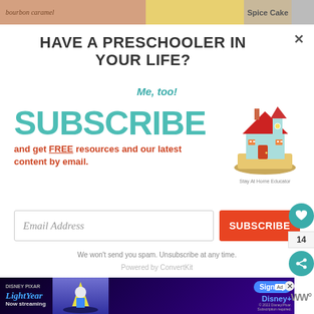[Figure (screenshot): Top strip showing food blog images with 'bourbon caramel' script text and 'Spice Cake' label]
HAVE A PRESCHOOLER IN YOUR LIFE?
Me, too!
[Figure (infographic): Large teal SUBSCRIBE text with red subtext 'and get FREE resources and our latest content by email.' and a house/book logo for 'Stay At Home Educator']
Email Address
SUBSCRIBE
We won't send you spam. Unsubscribe at any time.
Powered by ConvertKit
[Figure (screenshot): Disney Pixar Lightyear 'Now streaming' advertisement with Sign Up button and Disney+ branding]
14